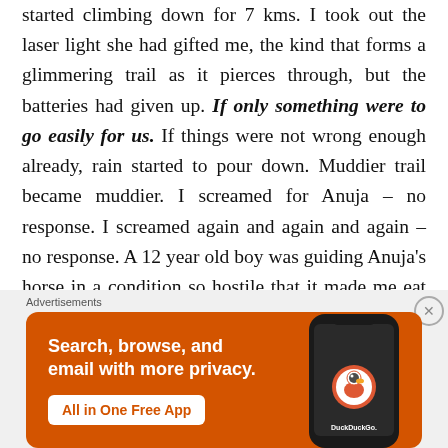started climbing down for 7 kms. I took out the laser light she had gifted me, the kind that forms a glimmering trail as it pierces through, but the batteries had given up. If only something were to go easily for us. If things were not wrong enough already, rain started to pour down. Muddier trail became muddier. I screamed for Anuja – no response. I screamed again and again and again – no response. A 12 year old boy was guiding Anuja's horse in a condition so hostile that it made me eat my heart. And to pile up on the things that were going miserably wrong for us, a lightening bolt pierced through the sky
Advertisements
[Figure (screenshot): DuckDuckGo advertisement banner on orange background. Text reads: 'Search, browse, and email with more privacy. All in One Free App'. Shows a phone with DuckDuckGo app and duck logo.]